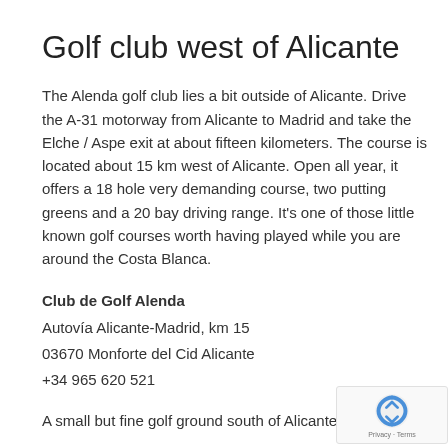Golf club west of Alicante
The Alenda golf club lies a bit outside of Alicante. Drive the A-31 motorway from Alicante to Madrid and take the Elche / Aspe exit at about fifteen kilometers. The course is located about 15 km west of Alicante. Open all year, it offers a 18 hole very demanding course, two putting greens and a 20 bay driving range. It’s one of those little known golf courses worth having played while you are around the Costa Blanca.
Club de Golf Alenda
Autovía Alicante-Madrid, km 15
03670 Monforte del Cid Alicante
+34 965 620 521
A small but fine golf ground south of Alicante